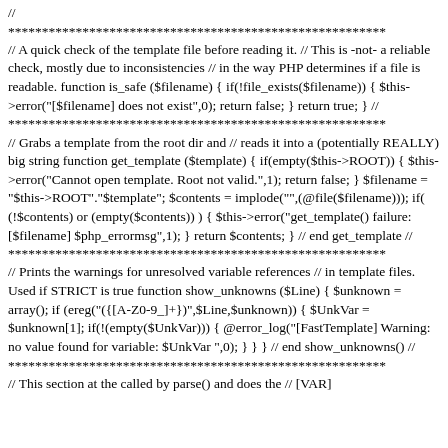//
// A quick check of the template file before reading it. // This is -not- a reliable check, mostly due to inconsistencies // in the way PHP determines if a file is readable. function is_safe ($filename) { if(!file_exists($filename)) { $this->error("[$filename] does not exist",0); return false; } return true; } //
// Grabs a template from the root dir and // reads it into a (potentially REALLY) big string function get_template ($template) { if(empty($this->ROOT)) { $this->error("Cannot open template. Root not valid.",1); return false; } $filename = "$this->ROOT"."$template"; $contents = implode("",(@ file($filename))); if( (!$contents) or (empty($contents)) ) { $this->error("get_template() failure: [$filename] $php_errormsg",1); } return $contents; } // end get_template //
// Prints the warnings for unresolved variable references // in template files. Used if STRICT is true function show_unknowns ($Line) { $unknown = array(); if (ereg("({[A-Z0-9_]+})", $Line,$unknown)) { $UnkVar = $unknown[1]; if(!(empty($UnkVar))) { @error_log("[FastTemplate] Warning: no value found for variable: $UnkVar ",0); } } } // end show_unknowns() //
// This section at the called by parse() and does the // [VAR]